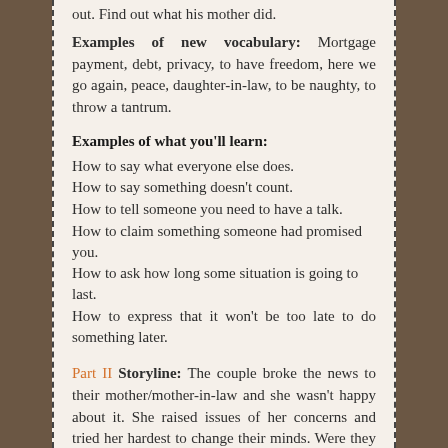out. Find out what his mother did.
Examples of new vocabulary: Mortgage payment, debt, privacy, to have freedom, here we go again, peace, daughter-in-law, to be naughty, to throw a tantrum.
Examples of what you'll learn:
How to say what everyone else does.
How to say something doesn't count.
How to tell someone you need to have a talk.
How to claim something someone had promised you.
How to ask how long some situation is going to last.
How to express that it won't be too late to do something later.
Part II Storyline: The couple broke the news to their mother/mother-in-law and she wasn't happy about it. She raised issues of her concerns and tried her hardest to change their minds. Were they able to